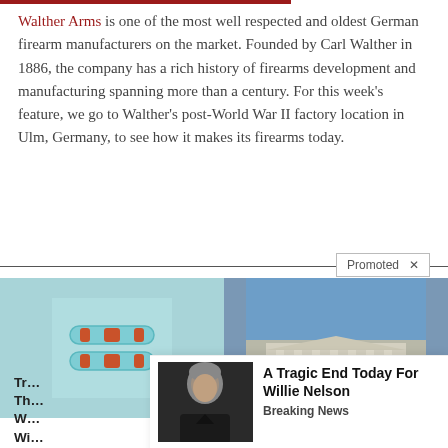Walther Arms is one of the most well respected and oldest German firearm manufacturers on the market. Founded by Carl Walther in 1886, the company has a rich history of firearms development and manufacturing spanning more than a century. For this week's feature, we go to Walther's post-World War II factory location in Ulm, Germany, to see how it makes its firearms today.
[Figure (infographic): Promoted ad section with two images: teal/aqua bracelets on left, Supreme Court building on right]
[Figure (photo): Ad popup: photo of elderly man (Willie Nelson) with text 'A Tragic End Today For Willie Nelson' and subheading 'Breaking News']